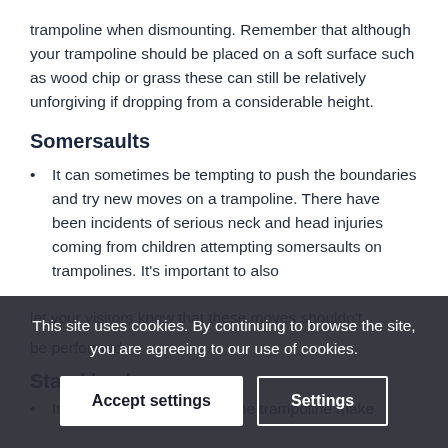trampoline when dismounting. Remember that although your trampoline should be placed on a soft surface such as wood chip or grass these can still be relatively unforgiving if dropping from a considerable height.
Somersaults
It can sometimes be tempting to push the boundaries and try new moves on a trampoline. There have been incidents of serious neck and head injuries coming from children attempting somersaults on trampolines. It's important to also let your visitors know that these moves shouldn't be performed.
Stand back
It it's a child's turn next on the trampoline make
This site uses cookies. By continuing to browse the site, you are agreeing to our use of cookies.